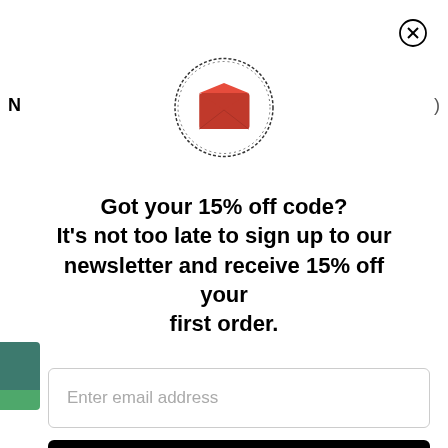[Figure (logo): Circular stamp/logo with a red envelope icon in the center, surrounded by a decorative laurel wreath border]
Got your 15% off code? It's not too late to sign up to our newsletter and receive 15% off your first order.
Enter email address
Enter